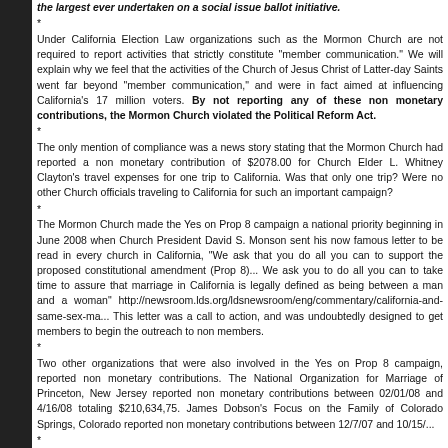the largest ever undertaken on a social issue ballot initiative.
*
Under California Election Law organizations such as the Mormon Church are not required to report activities that strictly constitute "member communication." We will explain why we feel that the activities of the Church of Jesus Christ of Latter-day Saints went far beyond "member communication," and were in fact aimed at influencing California's 17 million voters. By not reporting any of these non monetary contributions, the Mormon Church violated the Political Reform Act.
*
The only mention of compliance was a news story stating that the Mormon Church had reported a non monetary contribution of $2078.00 for Church Elder L. Whitney Clayton's travel expenses for one trip to California. Was that only one trip? Were no other Church officials traveling to California for such an important campaign?
*
The Mormon Church made the Yes on Prop 8 campaign a national priority beginning in June 2008 when Church President David S. Monson sent his now famous letter to be read in every church in California, "We ask that you do all you can to support the proposed constitutional amendment (Prop 8)... We ask you to do all you can to take time to assure that marriage in California is legally defined as being between a man and a woman" http://newsroom.lds.org/ldsnewsroom/eng/commentary/california-and-same-sex-ma... This letter was a call to action, and was undoubtedly designed to get members to begin the outreach to non members.
*
Two other organizations that were also involved in the Yes on Prop 8 campaign, reported non monetary contributions. The National Organization for Marriage of Princeton, New Jersey reported non monetary contributions between 02/01/08 and 4/16/08 totaling $210,634,75. James Dobson's Focus on the Family of Colorado Springs, Colorado reported non monetary contributions between 12/7/07 and 10/15/...
*
Phone Banks